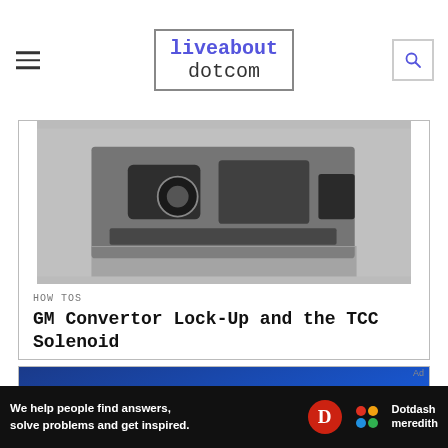liveabout dotcom
[Figure (photo): Undercarriage/mechanical components of a vehicle, black and white photograph]
HOW TOS
GM Convertor Lock-Up and the TCC Solenoid
[Figure (photo): Ford logo badge, blue oval with silver Ford script lettering]
We help people find answers, solve problems and get inspired.